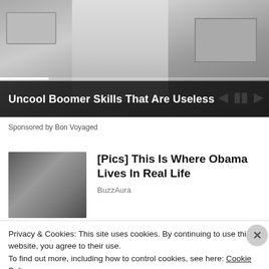[Figure (photo): Black and white vintage photo of a woman in a kitchen with a laundry basket, with media player controls overlay and progress bar]
Uncool Boomer Skills That Are Useless
Sponsored by Bon Voyaged
[Figure (photo): Photo of Barack Obama and Michelle Obama close together, smiling]
[Pics] This Is Where Obama Lives In Real Life
BuzzAura
Privacy & Cookies: This site uses cookies. By continuing to use this website, you agree to their use.
To find out more, including how to control cookies, see here: Cookie Policy
Close and accept